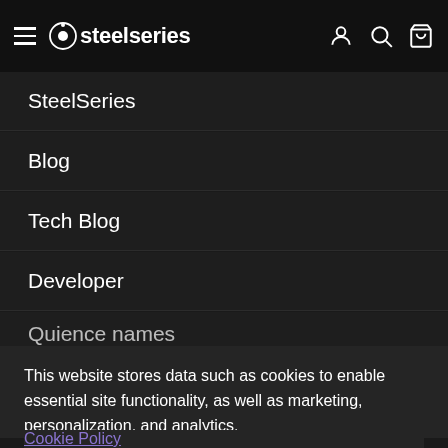steelseries — navigation header with hamburger menu, logo, account, search, cart icons
SteelSeries
Blog
Tech Blog
Developer
Quience names (partially visible)
This website stores data such as cookies to enable essential site functionality, as well as marketing, personalization, and analytics.
Cookie Policy
Accept
Deny
steelseries logo footer